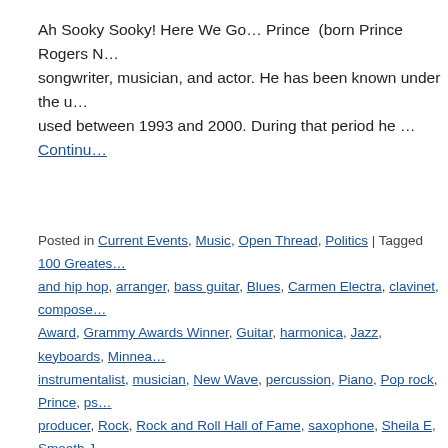Ah Sooky Sooky! Here We Go… Prince (born Prince Rogers N… songwriter, musician, and actor. He has been known under the u… used between 1993 and 2000. During that period he … Continue…
Posted in Current Events, Music, Open Thread, Politics | Tagged 100 Greates… and hip hop, arranger, bass guitar, Blues, Carmen Electra, clavinet, compose… Award, Grammy Awards Winner, Guitar, harmonica, Jazz, keyboards, Minnea… instrumentalist, musician, New Wave, percussion, Piano, Pop rock, Prince, ps… producer, Rock, Rock and Roll Hall of Fame, saxophone, Sheila E, Smooth J… Artist, The Artist Formerly Known as Prince, The Revolution, The Time, Vanity…